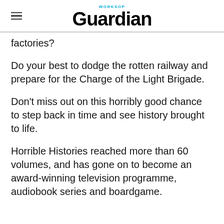Worksop Guardian
factories?
Do your best to dodge the rotten railway and prepare for the Charge of the Light Brigade.
Don't miss out on this horribly good chance to step back in time and see history brought to life.
Horrible Histories reached more than 60 volumes, and has gone on to become an award-winning television programme, audiobook series and boardgame.